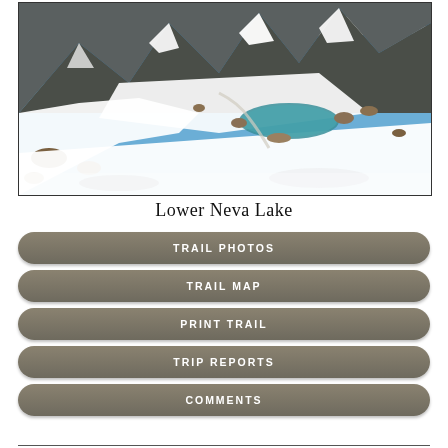[Figure (photo): Mountain alpine scene showing snowy slopes, rocky peaks, a small partially frozen teal lake, and blue sky with clouds — Lower Neva Lake]
Lower Neva Lake
TRAIL PHOTOS
TRAIL MAP
PRINT TRAIL
TRIP REPORTS
COMMENTS